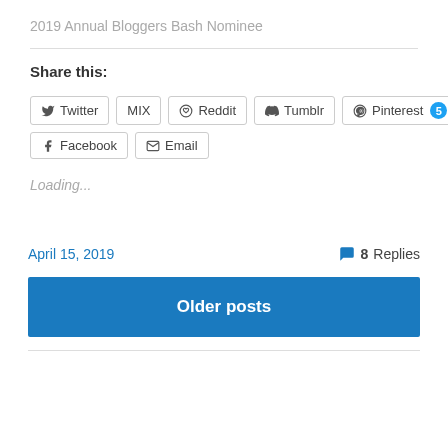2019 Annual Bloggers Bash Nominee
Share this:
Twitter | MIX | Reddit | Tumblr | Pinterest 5 | Facebook | Email
Loading...
April 15, 2019
8 Replies
Older posts